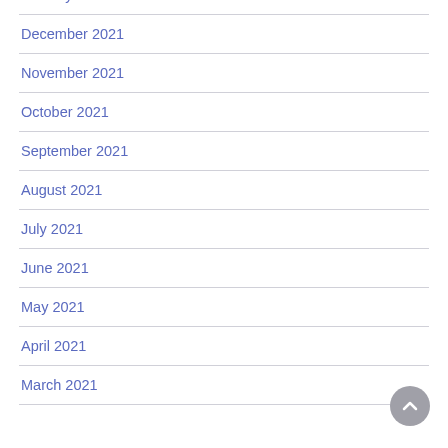January 2022
December 2021
November 2021
October 2021
September 2021
August 2021
July 2021
June 2021
May 2021
April 2021
March 2021